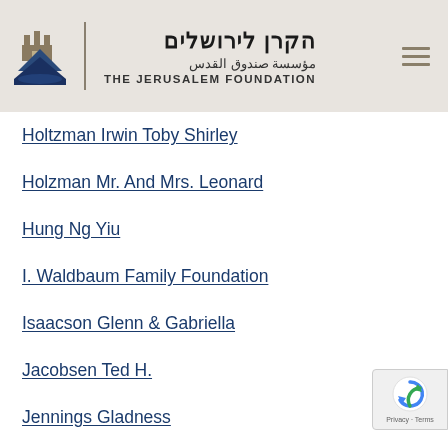[Figure (logo): The Jerusalem Foundation logo with Hebrew, Arabic, and English text and a castle/mountain icon]
Holtzman Irwin Toby Shirley
Holzman Mr. And Mrs. Leonard
Hung Ng Yiu
I. Waldbaum Family Foundation
Isaacson Glenn & Gabriella
Jacobsen Ted H.
Jennings Gladness
Jerusalem Municipality